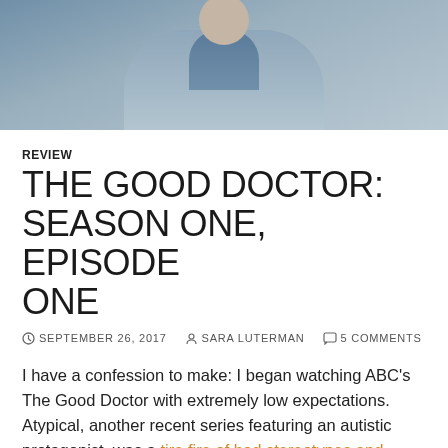[Figure (photo): Header photo showing a person in a white coat and blue shirt, blurred/cropped, against a light blue-gray background]
REVIEW
THE GOOD DOCTOR: SEASON ONE, EPISODE ONE
SEPTEMBER 26, 2017  SARA LUTERMAN  5 COMMENTS
I have a confession to make: I began watching ABC's The Good Doctor with extremely low expectations. Atypical, another recent series featuring an autistic protagonist, was a tire fire of bad stereotypes and worse representation. Awkward autistic white guy is nothing new or groundbreaking. The Good Doctor desperately wants to believe that it is groundbreaking. Apparently, none of the unnamed "autism consultants"